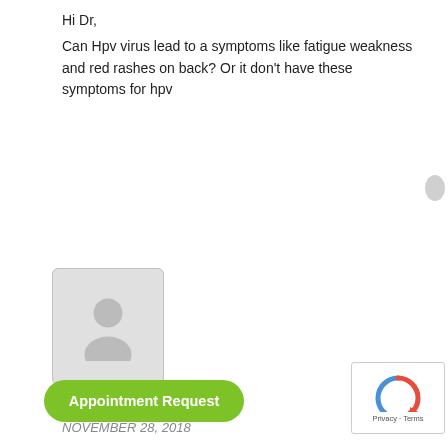Hi Dr,
Can Hpv virus lead to a symptoms like fatigue weakness and red rashes on back? Or it don’t have these symptoms for hpv
[Figure (illustration): User avatar placeholder icon for Dr Jonathan]
Dr Jonathan
NOVEMBER 28, 2018
No, HPV does not cause those symptoms.
[Figure (illustration): User avatar placeholder icon]
Appointment Request
[Figure (other): reCAPTCHA widget showing Privacy and Terms]